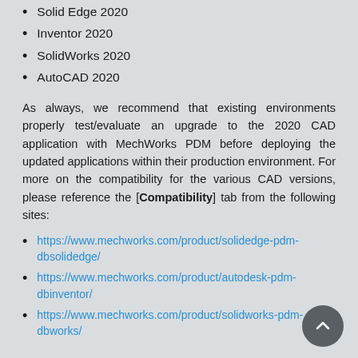Solid Edge 2020
Inventor 2020
SolidWorks 2020
AutoCAD 2020
As always, we recommend that existing environments properly test/evaluate an upgrade to the 2020 CAD application with MechWorks PDM before deploying the updated applications within their production environment. For more on the compatibility for the various CAD versions, please reference the [Compatibility] tab from the following sites:
https://www.mechworks.com/product/solidedge-pdm-dbsolidedge/
https://www.mechworks.com/product/autodesk-pdm-dbinventor/
https://www.mechworks.com/product/solidworks-pdm-dbworks/